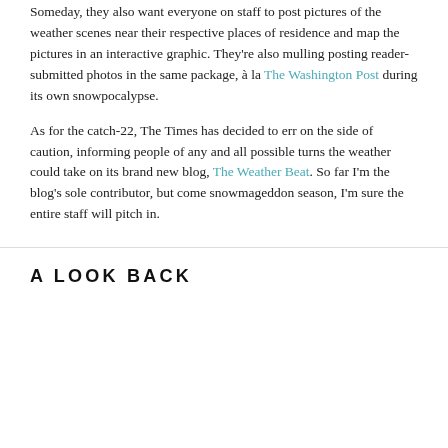Someday, they also want everyone on staff to post pictures of the weather scenes near their respective places of residence and map the pictures in an interactive graphic. They're also mulling posting reader-submitted photos in the same package, à la The Washington Post during its own snowpocalypse.
As for the catch-22, The Times has decided to err on the side of caution, informing people of any and all possible turns the weather could take on its brand new blog, The Weather Beat. So far I'm the blog's sole contributor, but come snowmageddon season, I'm sure the entire staff will pitch in.
A LOOK BACK